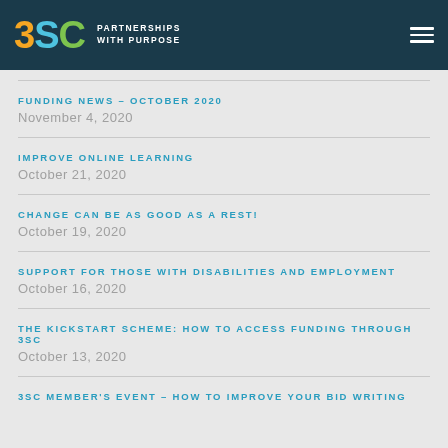3SC PARTNERSHIPS WITH PURPOSE
FUNDING NEWS – OCTOBER 2020
November 4, 2020
IMPROVE ONLINE LEARNING
October 21, 2020
CHANGE CAN BE AS GOOD AS A REST!
October 19, 2020
SUPPORT FOR THOSE WITH DISABILITIES AND EMPLOYMENT
October 16, 2020
THE KICKSTART SCHEME: HOW TO ACCESS FUNDING THROUGH 3SC
October 13, 2020
3SC MEMBER'S EVENT – HOW TO IMPROVE YOUR BID WRITING